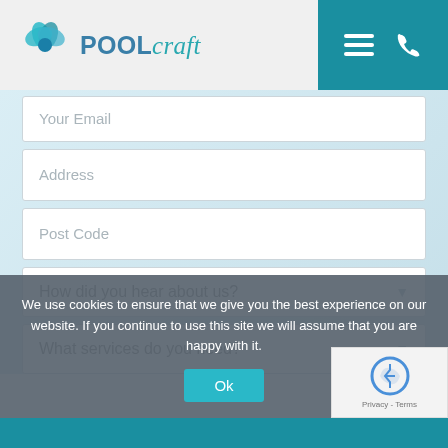[Figure (logo): Poolcraft logo with teal flower/droplet icon and text 'POOLcraft']
[Figure (infographic): Navigation bar with hamburger menu icon and phone icon on teal background]
Your Email
Address
Post Code
How did you hear about us?
What services do you need?
We use cookies to ensure that we give you the best experience on our website. If you continue to use this site we will assume that you are happy with it.
Ok
Privacy - Terms